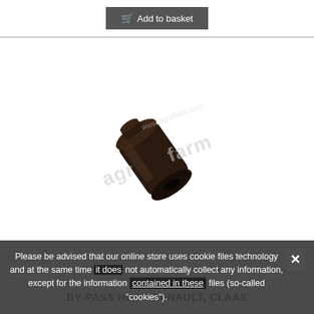[Figure (other): Add to basket button (dark grey/black button with shopping cart icon and text 'Add to basket')]
[Figure (photo): Photo of a by-pass hose fitting (small dark cylindrical metal/rubber part) with agrofarm.com watermark overlaid]
BY-PASS HOSE RENAULT, CLAAS
Please be advised that our online store uses cookie files technology and at the same time does not automatically collect any information, except for the information contained in these files (so-called "cookies").